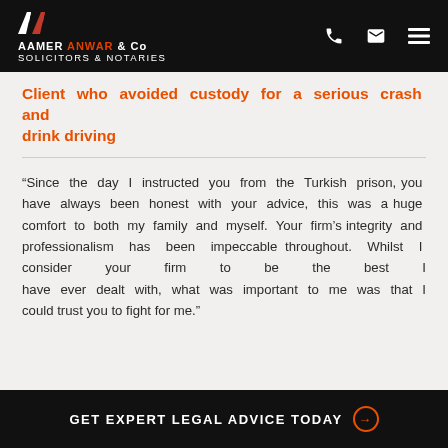Aamer Anwar & Co — Solicitors & Notaries
Client who avoided custody for a serious crash and drink driving
“Since the day I instructed you from the Turkish prison, you have always been honest with your advice, this was a huge comfort to both my family and myself. Your firm’s integrity and professionalism has been impeccable throughout. Whilst I consider your firm to be the best I have ever dealt with, what was important to me was that I could trust you to fight for me.”
GET EXPERT LEGAL ADVICE TODAY